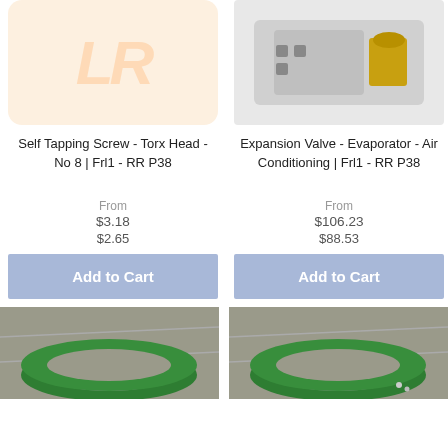[Figure (photo): LR logo placeholder image with orange/peach background and large 'LR' text watermark]
[Figure (photo): Photo of an expansion valve / evaporator part for air conditioning, metallic silver and gold components]
Self Tapping Screw - Torx Head - No 8 | Frl1 - RR P38
Expansion Valve - Evaporator - Air Conditioning | Frl1 - RR P38
From $3.18 $2.65
From $106.23 $88.53
Add to Cart
Add to Cart
[Figure (photo): Photo of a large green rubber O-ring or seal on a grey surface]
[Figure (photo): Photo of a large green rubber O-ring or seal on a grey surface, with small metal parts visible]